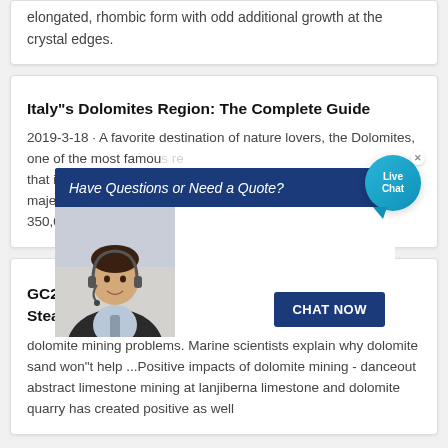elongated, rhombic form with odd additional growth at the crystal edges.
Italy"s Dolomites Region: The Complete Guide
2019-3-18 · A favorite destination of nature lovers, the Dolomites, one of the most famous mountainous regions that is part of the eastern Italian Alps. Dominated by majestic peaks, the diverse landscape consists of more than 350,000 acres of jagged pinnacles...
[Figure (screenshot): Live chat popup overlay with 'Have Questions or Need a Quote?' header bar, photo of a customer service representative with headset, and a 'CHAT NOW' button. A blue 'Live Chat' speech bubble icon appears in the top right.]
GC28WPQ Mining the Dolomite Limestone at Stearn"s Quarr...
dolomite mining problems. Marine scientists explain why dolomite sand won"t help ...Positive impacts of dolomite mining - danceout abstract limestone mining at lanjiberna limestone and dolomite quarry has created positive as well